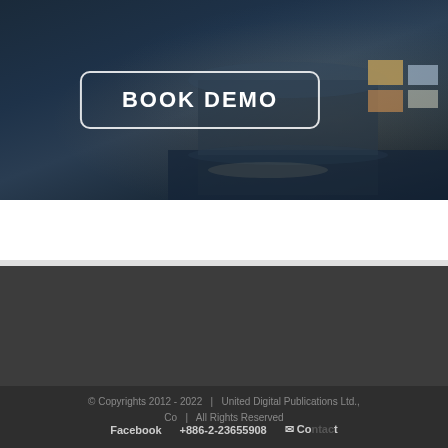[Figure (photo): Hero section with dark blue night-time architectural photo of a modern convention center or exhibition hall with illuminated billboards, with a 'BOOK DEMO' button overlay in a rounded rectangle border]
BOOK DEMO
© Copyrights 2012 - 2022  |  United Digital Publications Ltd., Co  |  All Rights Reserved
Facebook   +886-2-23655908   ✉ Contact